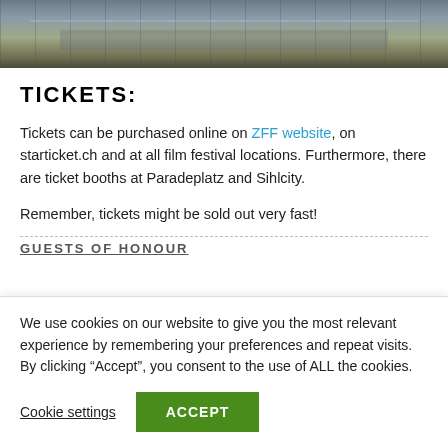[Figure (photo): Partial photo strip at top showing an outdoor festival or market location with structures and people visible]
TICKETS:
Tickets can be purchased online on ZFF website, on starticket.ch and at all film festival locations. Furthermore, there are ticket booths at Paradeplatz and Sihlcity.
Remember, tickets might be sold out very fast!
GUESTS OF HONOUR
We use cookies on our website to give you the most relevant experience by remembering your preferences and repeat visits. By clicking “Accept”, you consent to the use of ALL the cookies.
Cookie settings
ACCEPT